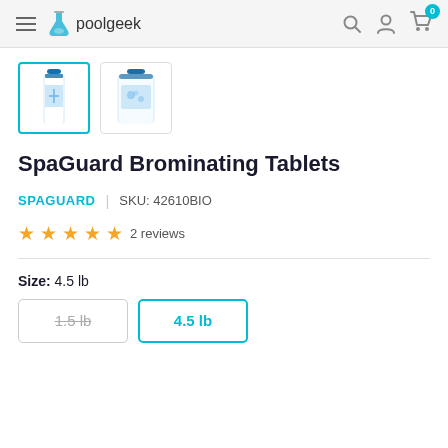poolgeek — navigation header with hamburger menu, logo, search, account, and cart icons
[Figure (photo): Two product thumbnail images: first (selected, cyan border) shows a tall white bottle of SpaGuard Brominating Tablets; second shows a larger white jug of the same product.]
SpaGuard Brominating Tablets
SPAGUARD | SKU: 42610BIO
★★★★★ 2 reviews
Size: 4.5 lb
1.5 lb  |  4.5 lb (size options)